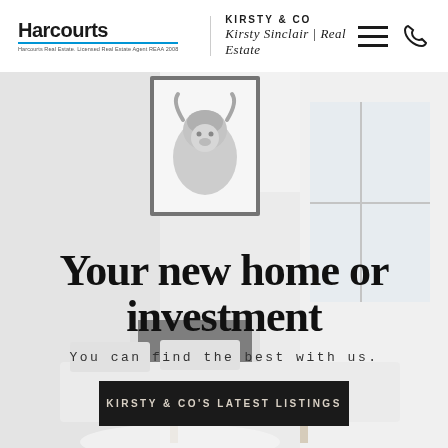[Figure (logo): Harcourts logo with blue underline and small tagline text]
[Figure (logo): Kirsty & Co – Kirsty Sinclair | Real Estate logo in script font]
[Figure (illustration): Hamburger menu icon and phone icon in top right header]
[Figure (photo): Interior photo of a modern living room with a framed highland cow artwork on the wall, fireplace, sofa, and large windows. The image is washed out/light toned.]
Your new home or investment
You can find the best with us.
KIRSTY & CO'S LATEST LISTINGS